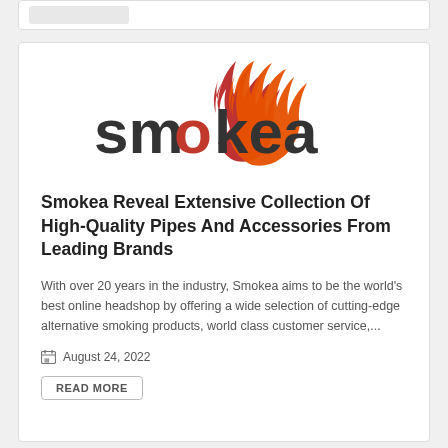[Figure (logo): Smokea logo — stylized flame above the word 'smokea' in dark gray with orange/red flame element replacing the 'o']
Smokea Reveal Extensive Collection Of High-Quality Pipes And Accessories From Leading Brands
With over 20 years in the industry, Smokea aims to be the world's best online headshop by offering a wide selection of cutting-edge alternative smoking products, world class customer service,...
August 24, 2022